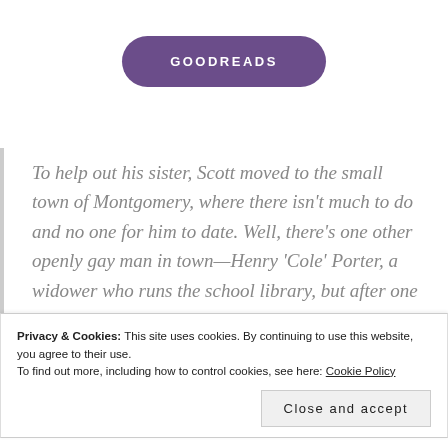[Figure (logo): Goodreads button — rounded rectangle pill shape in purple with white bold uppercase text GOODREADS]
To help out his sister, Scott moved to the small town of Montgomery, where there isn't much to do and no one for him to date. Well, there's one other openly gay man in town—Henry 'Cole' Porter, a widower who runs the school library, but after one drunken night together,
Privacy & Cookies: This site uses cookies. By continuing to use this website, you agree to their use.
To find out more, including how to control cookies, see here: Cookie Policy
Close and accept